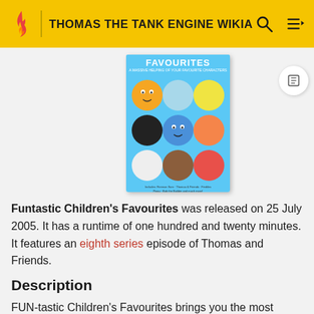THOMAS THE TANK ENGINE WIKIA
[Figure (photo): DVD cover for Funtastic Children's Favourites showing circular character icons on a blue background including characters from various children's TV shows]
Funtastic Children's Favourites was released on 25 July 2005. It has a runtime of one hundred and twenty minutes. It features an eighth series episode of Thomas and Friends.
Description
FUN-tastic Children's Favourites brings you the most fantastic line up of children's progammes! For the first time ever this bumper collection includes brand new Fireman Sam and Dingo, the much loved Thomas &